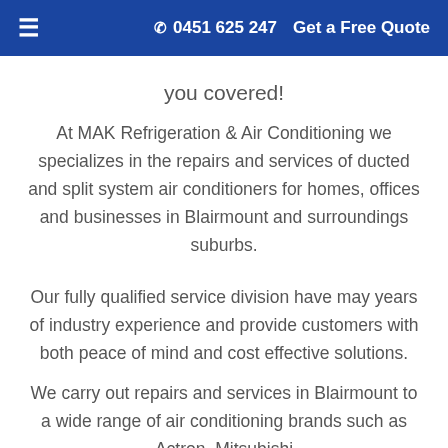≡  📞 0451 625 247   Get a Free Quote
you covered!
At MAK Refrigeration & Air Conditioning we specializes in the repairs and services of ducted and split system air conditioners for homes, offices and businesses in Blairmount and surroundings suburbs.
Our fully qualified service division have may years of industry experience and provide customers with both peace of mind and cost effective solutions.
We carry out repairs and services in Blairmount to a wide range of air conditioning brands such as Actron, Mitsubishi